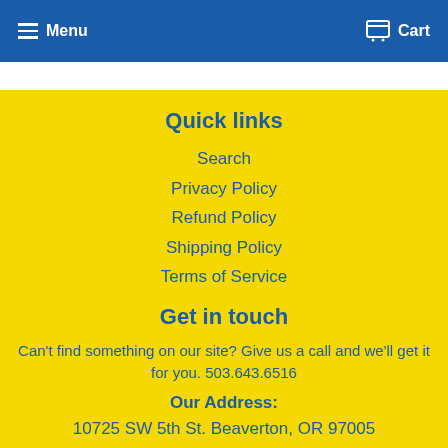Menu  Cart
Quick links
Search
Privacy Policy
Refund Policy
Shipping Policy
Terms of Service
Get in touch
Can't find something on our site? Give us a call and we'll get it for you. 503.643.6516
Our Address:
10725 SW 5th St. Beaverton, OR 97005